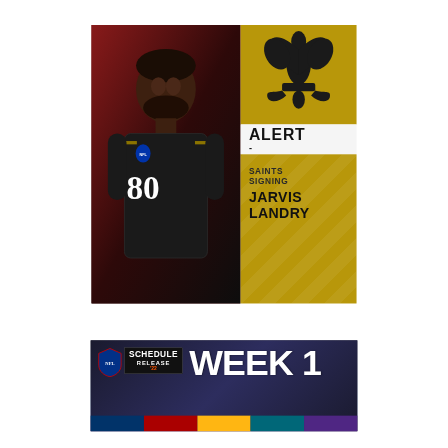[Figure (infographic): New Orleans Saints NFL alert card showing player Jarvis Landry wearing jersey #80 (Cleveland Browns uniform), with the Saints fleur-de-lis logo in gold top-right, 'ALERT' text banner in white, and 'SAINTS SIGNING JARVIS LANDRY' text on gold background]
[Figure (infographic): NFL Schedule Release Week 1 graphic with dark blue/purple gradient background, NFL logo, 'SCHEDULE RELEASE 22' badge, 'WEEK 1' in large white bold text, and team color bars at the bottom]